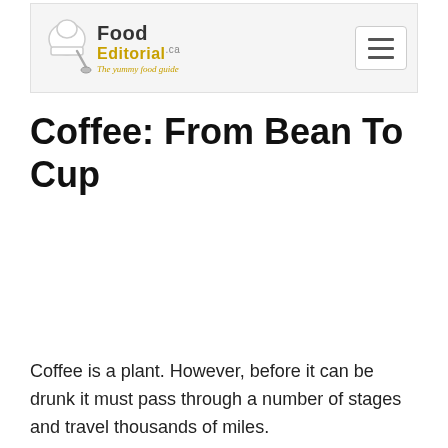Food Editorial – The yummy food guide
Coffee: From Bean To Cup
Coffee is a plant. However, before it can be drunk it must pass through a number of stages and travel thousands of miles.